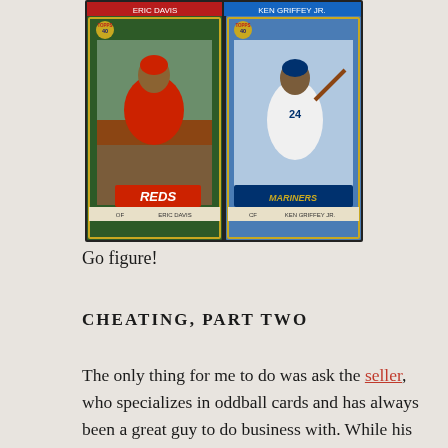[Figure (photo): Two 1991 Topps baseball cards side by side: Eric Davis (OF, Cincinnati Reds, wearing red uniform, kneeling) on the left, and Ken Griffey Jr. (CF, Seattle Mariners, wearing white uniform, mid-swing) on the right. Both cards have the Topps 40th anniversary logo.]
Go figure!
CHEATING, PART TWO
The only thing for me to do was ask the seller, who specializes in oddball cards and has always been a great guy to do business with. While his answer may not hold for all 4-in-1 panels like